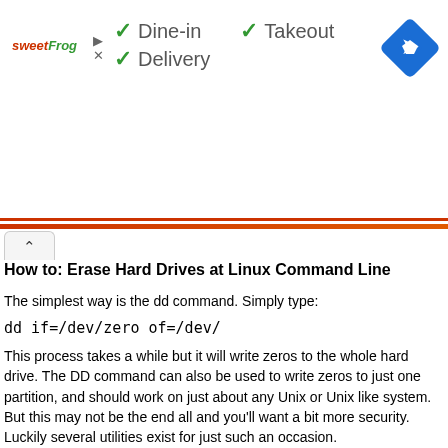[Figure (screenshot): Ad banner for sweetFrog restaurant showing checkmarks for Dine-in, Takeout, Delivery options and a blue navigation diamond icon]
How to: Erase Hard Drives at Linux Command Line
The simplest way is the dd command. Simply type:
dd if=/dev/zero of=/dev/
This process takes a while but it will write zeros to the whole hard drive. The DD command can also be used to write zeros to just one partition, and should work on just about any Unix or Unix like system. But this may not be the end all and you'll want a bit more security. Luckily several utilities exist for just such an occasion.
Wipe is one of the better ones I've seen. It claims to use the Gutmann method as one of it's processes.
Another method is one of the simplest and makes reading man pages profitable. The good old rm command with -P does a three time wipe on each